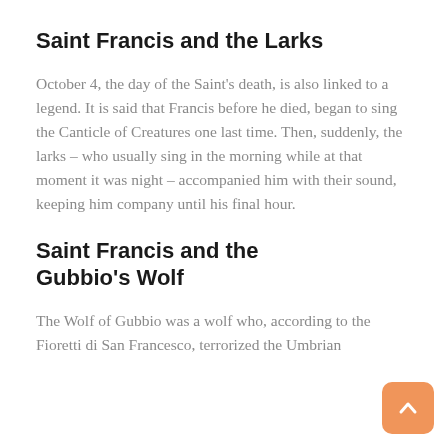Saint Francis and the Larks
October 4, the day of the Saint's death, is also linked to a legend. It is said that Francis before he died, began to sing the Canticle of Creatures one last time. Then, suddenly, the larks – who usually sing in the morning while at that moment it was night – accompanied him with their sound, keeping him company until his final hour.
Saint Francis and the Gubbio's Wolf
The Wolf of Gubbio was a wolf who, according to the Fioretti di San Francesco, terrorized the Umbrian